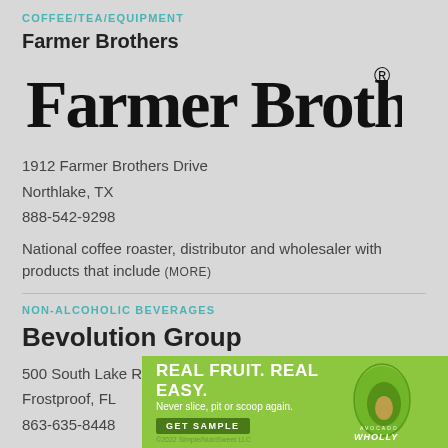COFFEE/TEA/EQUIPMENT
Farmer Brothers
[Figure (logo): Farmer Brothers logo in large serif font with registered trademark symbol]
1912 Farmer Brothers Drive
Northlake, TX
888-542-9298
National coffee roaster, distributor and wholesaler with products that include (MORE)
NON-ALCOHOLIC BEVERAGES
Bevolution Group
500 South Lake Reedy Blvd
Frostproof, FL
863-635-8448
Manufactu... Concern...
[Figure (advertisement): REAL FRUIT. REAL EASY. Never slice, pit or scoop again. GET SAMPLE. Wholly Avocado branded ad banner on green background.]